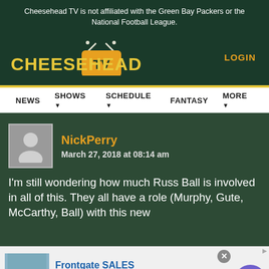Cheesehead TV is not affiliated with the Green Bay Packers or the National Football League.
[Figure (logo): Cheesehead TV logo with golden text and orange TV icon with antenna]
LOGIN
NEWS  SHOWS  SCHEDULE  FANTASY  MORE
NickPerry
March 27, 2018 at 08:14 am
I'm still wondering how much Russ Ball is involved in all of this. They all have a role (Murphy, Gute, McCarthy, Ball) with this new
[Figure (screenshot): Frontgate SALES advertisement banner with bedroom image, Up to 30% off sitewide from August 23-25, www.frontgate.com, close button and navigation arrow]